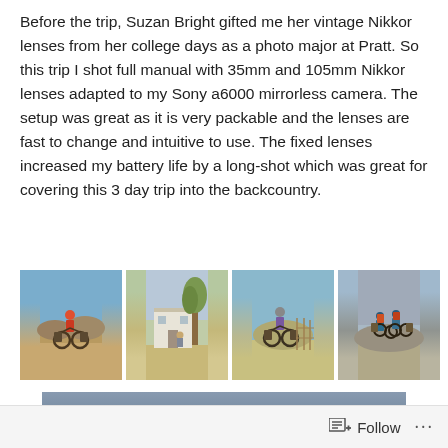Before the trip, Suzan Bright gifted me her vintage Nikkor lenses from her college days as a photo major at Pratt. So this trip I shot full manual with 35mm and 105mm Nikkor lenses adapted to my Sony a6000 mirrorless camera. The setup was great as it is very packable and the lenses are fast to change and intuitive to use. The fixed lenses increased my battery life by a long-shot which was great for covering this 3 day trip into the backcountry.
[Figure (photo): Four side-by-side photos of cyclists on fat tire bikes in desert/backcountry settings. Left: cyclist in red plaid shirt with loaded bike in arid landscape. Center-left: old white building with trees and a person standing nearby. Center-right: cyclist in purple shirt with loaded fat bike near fence, hills behind. Right: two cyclists riding away on loaded bikes in grey overcast landscape.]
[Figure (photo): Wide landscape photo showing dark mountain silhouettes against a lighter sky, suggesting a backcountry desert or mountain range scene.]
Follow ···